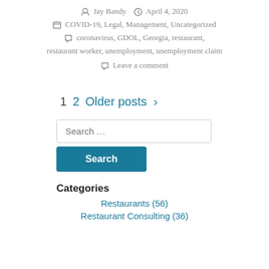Jay Bandy   April 4, 2020
COVID-19, Legal, Management, Uncategorized
coronavirus, GDOL, Georgia, restaurant, restaurant worker, unemployment, unemployment claim
Leave a comment
1  2  Older posts >
Search ...
Search
Categories
Restaurants (56)
Restaurant Consulting (36)